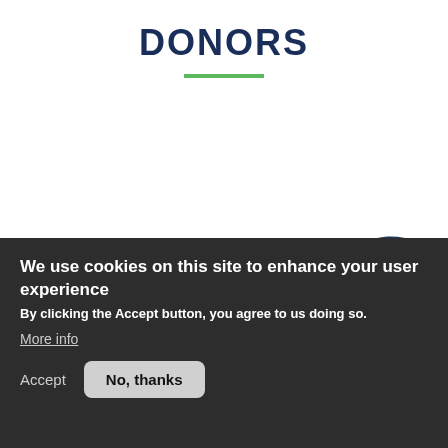DONORS
[Figure (illustration): Dark navy blue wave shape decorative background element with a small logo icon visible in the lower center area]
We use cookies on this site to enhance your user experience
By clicking the Accept button, you agree to us doing so.
More info
Accept   No, thanks